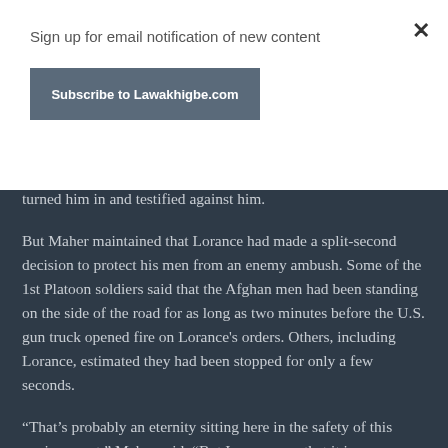Sign up for email notification of new content
Subscribe to Lawakhigbe.com
turned him in and testified against him.
But Maher maintained that Lorance had made a split-second decision to protect his men from an enemy ambush. Some of the 1st Platoon soldiers said that the Afghan men had been standing on the side of the road for as long as two minutes before the U.S. gun truck opened fire on Lorance's orders. Others, including Lorance, estimated they had been stopped for only a few seconds.
“That’s probably an eternity sitting here in the safety of this environment,” Maher said. “But I assure you that it is